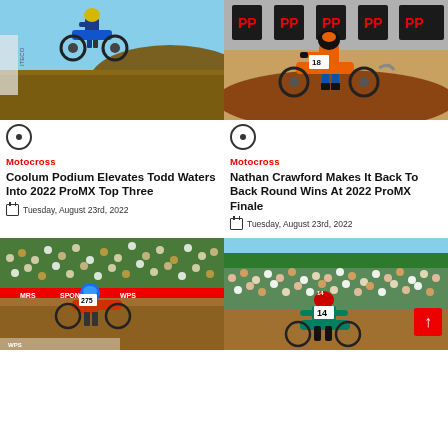[Figure (photo): Motocross rider in yellow/blue gear jumping a dirt bike against a blue sky with hillside in background]
[Figure (photo): Motocross rider in orange/black gear cornering on dirt track with sponsor banners (PP) in background]
Motocross
Coolum Podium Elevates Todd Waters Into 2022 ProMX Top Three
Tuesday, August 23rd, 2022
Motocross
Nathan Crawford Makes It Back To Back Round Wins At 2022 ProMX Finale
Tuesday, August 23rd, 2022
[Figure (photo): Motocross rider on red/orange bike with large crowd spectators and sponsor banners in background]
[Figure (photo): Motocross rider #14 in teal/black gear viewed from behind, large crowd in background]